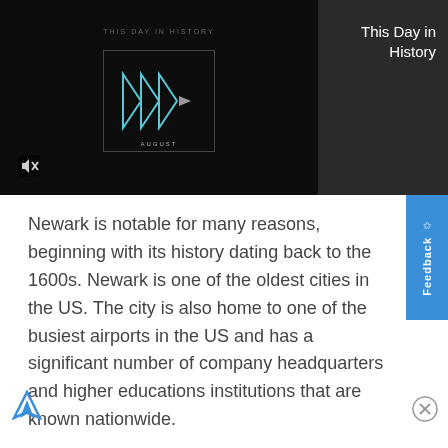[Figure (screenshot): Dark video player area showing 'THIS DAY IN HISTORY' text with a play button icon made of triangular arrows and 'AUGUST' label below. A mute icon appears in the lower left.]
This Day in History
Newark is notable for many reasons, beginning with its history dating back to the 1600s. Newark is one of the oldest cities in the US. The city is also home to one of the busiest airports in the US and has a significant number of company headquarters and higher educations institutions that are known nationwide.
[Figure (other): Feedback tab on the right side with star icon and 'Feedback' text rotated vertically, blue background.]
[Figure (logo): Small triangular ad icon in lower left corner.]
[Figure (other): Close/X button circle in lower right corner.]